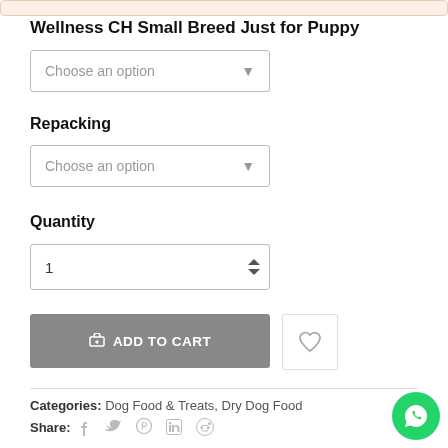Wellness CH Small Breed Just for Puppy
Choose an option (dropdown 1)
Repacking
Choose an option (dropdown 2)
Quantity
1
ADD TO CART
Categories: Dog Food & Treats, Dry Dog Food
Share: